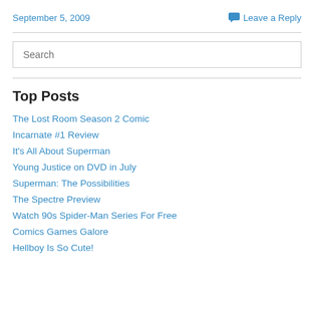September 5, 2009
Leave a Reply
Search
Top Posts
The Lost Room Season 2 Comic
Incarnate #1 Review
It's All About Superman
Young Justice on DVD in July
Superman: The Possibilities
The Spectre Preview
Watch 90s Spider-Man Series For Free
Comics Games Galore
Hellboy Is So Cute!